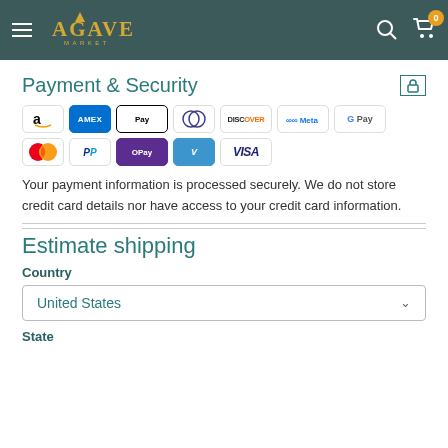Agave Market
Payment & Security
[Figure (other): Payment method logos: Amazon, AMEX, Apple Pay, Diners, Discover, Meta, Google Pay, Mastercard, PayPal, OPay, Venmo, VISA]
Your payment information is processed securely. We do not store credit card details nor have access to your credit card information.
Estimate shipping
Country
United States
State